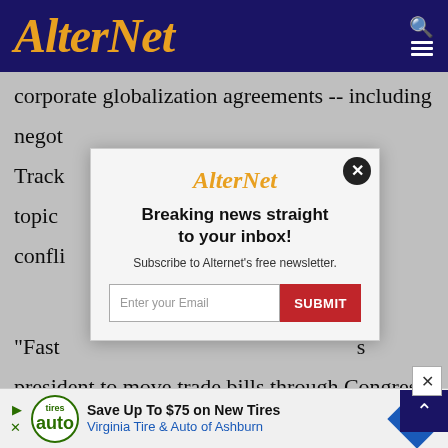AlterNet
corporate globalization agreements -- including negot... Track... the topic ... d conflic...
[Figure (screenshot): AlterNet newsletter signup modal with headline 'Breaking news straight to your inbox!' and email subscribe form with SUBMIT button]
"Fast ... president to move trade bills through Congress quickly by overriding core aspects of the democratic process such as committee
[Figure (other): Advertisement banner: Save Up To $75 on New Tires - Virginia Tire & Auto of Ashburn]